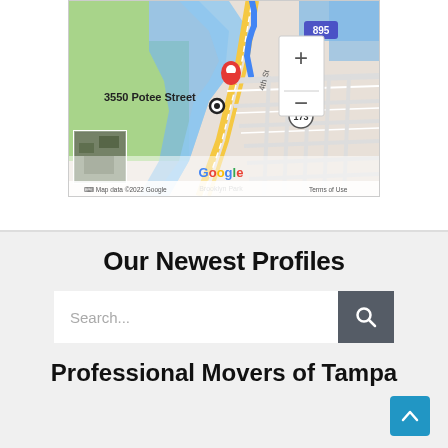[Figure (map): Google Maps screenshot showing area around 3550 Potee Street, Brooklyn Park. Map shows streets, a blue route, red location pin, and zoom controls. Map data ©2022 Google. Terms of Use visible.]
Our Newest Profiles
Search...
Professional Movers of Tampa